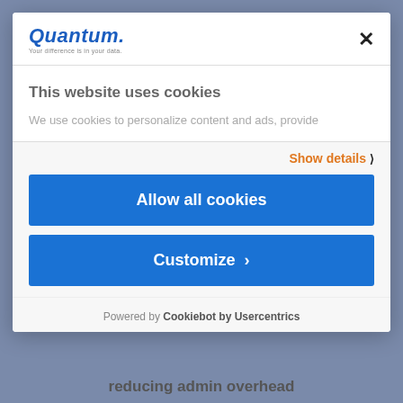[Figure (logo): Quantum logo with blue italic text and tagline 'Your difference is in your data']
This website uses cookies
We use cookies to personalize content and ads, provide
Show details ▸
Allow all cookies
Customize ›
Powered by Cookiebot by Usercentrics
reducing admin overhead